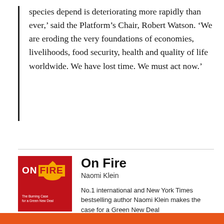species depend is deteriorating more rapidly than ever,' said the Platform's Chair, Robert Watson. 'We are eroding the very foundations of economies, livelihoods, food security, health and quality of life worldwide. We have lost time. We must act now.'
[Figure (illustration): Book cover of 'On Fire' by Naomi Klein. Red cover with bold white text reading ON FIRE, flame graphic, subtitle about Green New Deal, author name NAOMI KLEIN on white banner.]
On Fire
Naomi Klein
No.1 international and New York Times bestselling author Naomi Klein makes the case for a Green New Deal